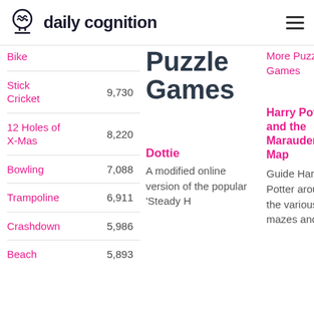daily cognition
Bike
Stick Cricket  9,730
12 Holes of X-Mas  8,220
Bowling  7,088
Trampoline  6,911
Crashdown  5,986
Beach  5,893
Puzzle Games
More Puzzle Games
Dottie
A modified online version of the popular 'Steady H
Harry Potter and the Marauder's Map
Guide Harry Potter around the various mazes and co